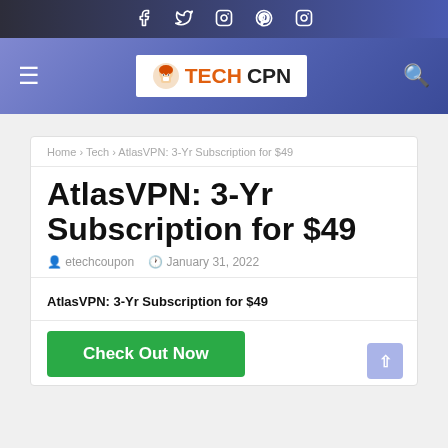Social icons: Facebook, Twitter, Instagram, Pinterest, Instagram
TECHCPN navigation header with hamburger menu and search icon
Home › Tech › AtlasVPN: 3-Yr Subscription for $49
AtlasVPN: 3-Yr Subscription for $49
etechcoupon   January 31, 2022
AtlasVPN: 3-Yr Subscription for $49
Check Out Now